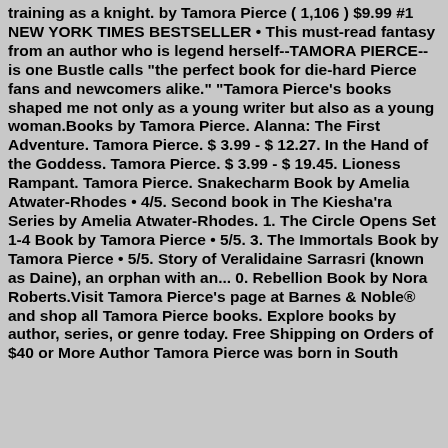training as a knight. by Tamora Pierce ( 1,106 ) $9.99 #1 NEW YORK TIMES BESTSELLER • This must-read fantasy from an author who is legend herself--TAMORA PIERCE--is one Bustle calls "the perfect book for die-hard Pierce fans and newcomers alike." "Tamora Pierce's books shaped me not only as a young writer but also as a young woman.Books by Tamora Pierce. Alanna: The First Adventure. Tamora Pierce. $ 3.99 - $ 12.27. In the Hand of the Goddess. Tamora Pierce. $ 3.99 - $ 19.45. Lioness Rampant. Tamora Pierce. Snakecharm Book by Amelia Atwater-Rhodes • 4/5. Second book in The Kiesha'ra Series by Amelia Atwater-Rhodes. 1. The Circle Opens Set 1-4 Book by Tamora Pierce • 5/5. 3. The Immortals Book by Tamora Pierce • 5/5. Story of Veralidaine Sarrasri (known as Daine), an orphan with an... 0. Rebellion Book by Nora Roberts.Visit Tamora Pierce's page at Barnes & Noble® and shop all Tamora Pierce books. Explore books by author, series, or genre today. Free Shipping on Orders of $40 or More Author Tamora Pierce was born in South